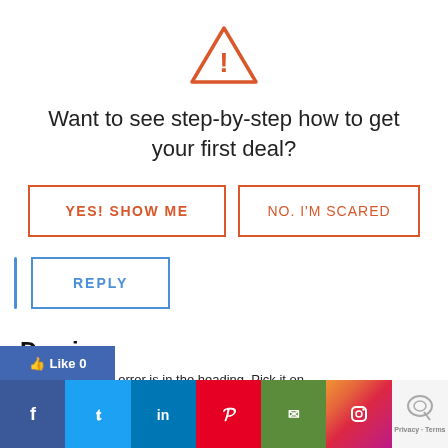[Figure (illustration): Orange triangle warning/alert icon with exclamation mark]
Want to see step-by-step how to get your first deal?
[Figure (other): Two call-to-action buttons: 'YES! SHOW ME' (orange border) and 'NO. I'M SCARED' (orange border)]
[Figure (other): Reply button with blue border, preceded by a blue vertical bar]
Demian
Don,
[Figure (other): Social sharing bar with Facebook, Twitter, LinkedIn, Pinterest, Email, Instagram icons and reCAPTCHA badge]
...ikness tab, the error is in the heading. Pick it on Data. Should be "Date".